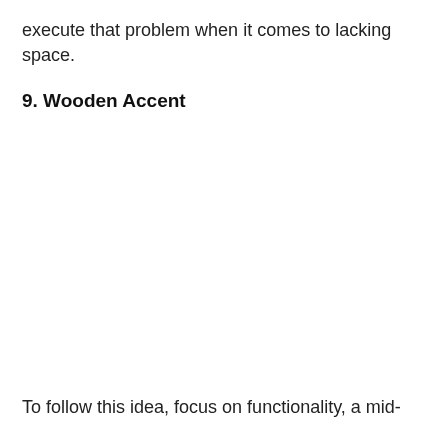execute that problem when it comes to lacking space.
9. Wooden Accent
To follow this idea, focus on functionality, a mid-